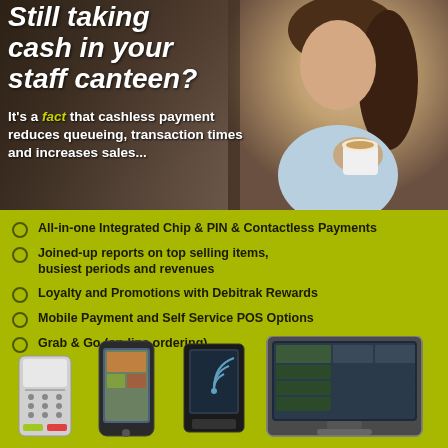Still taking cash in your staff canteen?
It's a fact that cashless payment reduces queueing, transaction times and increases sales...
All-in-one Integrated Chip & PIN & Contactless Payments
Joined-up reports on top selling items, busiest periods and revenues
Loyalty and Promotions with Debitrak Rewards
Mobile Payment and Self Service POS Options
Grab & Go (on-line ordering)
[Figure (photo): Payment devices: card terminal, smartphone, contactless reader, and POS screen]